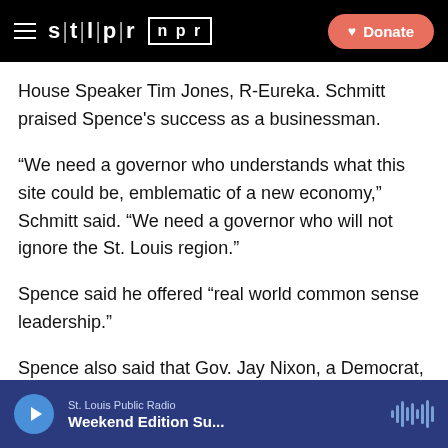STLPR NPR | Donate
House Speaker Tim Jones, R-Eureka. Schmitt praised Spence's success as a businessman.
“We need a governor who understands what this site could be, emblematic of a new economy,” Schmitt said. “We need a governor who will not ignore the St. Louis region.”
Spence said he offered “real world common sense leadership.”
Spence also said that Gov. Jay Nixon, a Democrat, deserved some blame for Chrysler’s closing in early 2009, throwing 6,300 people out of work. Spence asked
St. Louis Public Radio | Weekend Edition Su...